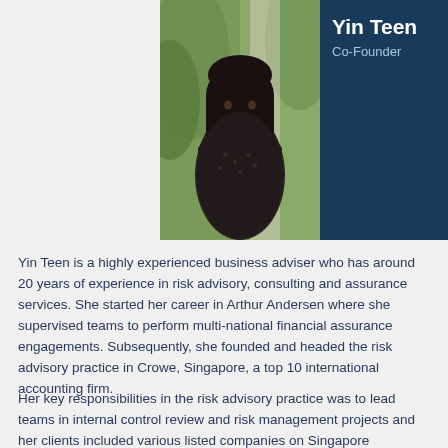[Figure (photo): Portrait photo of Yin Teen, a woman with long dark hair, smiling, wearing a dark patterned top, with green plants in the background. Photo is displayed in a teal/dark-blue banner alongside her name and title.]
Yin Teen
Co-Founder
Yin Teen is a highly experienced business adviser who has around 20 years of experience in risk advisory, consulting and assurance services. She started her career in Arthur Andersen where she supervised teams to perform multi-national financial assurance engagements. Subsequently, she founded and headed the risk advisory practice in Crowe, Singapore, a top 10 international accounting firm.
Her key responsibilities in the risk advisory practice was to lead teams in internal control review and risk management projects and her clients included various listed companies on Singapore Exchange, institutions licensed by the Monetary Authority of Singapore and non-profit